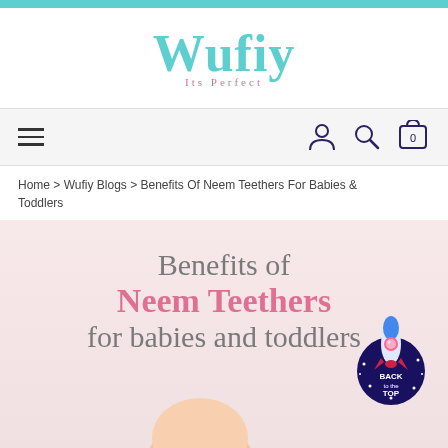[Figure (logo): Wufiy logo with teal cursive text and pink subtitle 'Its Perfect']
[Figure (screenshot): Navigation bar with hamburger menu on left and user, search, cart icons on right]
Home > Wufiy Blogs > Benefits Of Neem Teethers For Babies & Toddlers
Benefits of Neem Teethers for babies and toddlers
[Figure (illustration): Rocket with baby astronaut and 'BACK to the TOP' badge in bottom right corner]
[Figure (photo): Baby head visible at bottom of page]